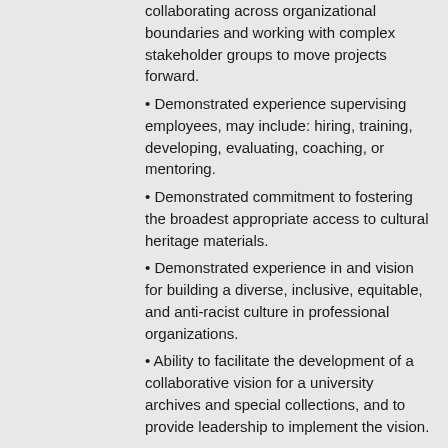collaborating across organizational boundaries and working with complex stakeholder groups to move projects forward.
Demonstrated experience supervising employees, may include: hiring, training, developing, evaluating, coaching, or mentoring.
Demonstrated commitment to fostering the broadest appropriate access to cultural heritage materials.
Demonstrated experience in and vision for building a diverse, inclusive, equitable, and anti-racist culture in professional organizations.
Ability to facilitate the development of a collaborative vision for a university archives and special collections, and to provide leadership to implement the vision.
Summary of Position Duties: